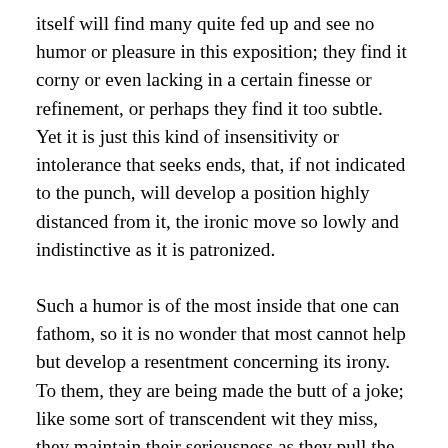itself will find many quite fed up and see no humor or pleasure in this exposition; they find it corny or even lacking in a certain finesse or refinement, or perhaps they find it too subtle. Yet it is just this kind of insensitivity or intolerance that seeks ends, that, if not indicated to the punch, will develop a position highly distanced from it, the ironic move so lowly and indistinctive as it is patronized.
Such a humor is of the most inside that one can fathom, so it is no wonder that most cannot help but develop a resentment concerning its irony. To them, they are being made the butt of a joke; like some sort of transcendent wit they miss, they maintain their seriousness as they pull the heavenly act down to their mundane decisions and proclaim and accuse